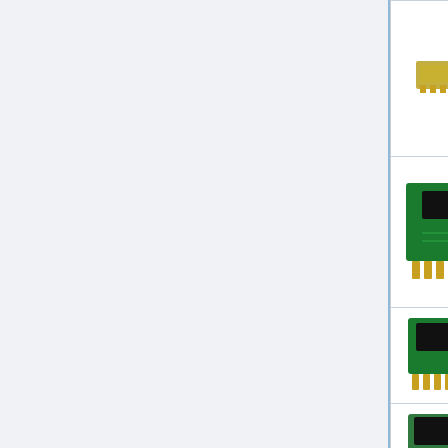| Image | Name | Code |
| --- | --- | --- |
| [PCB image] |  |  |
| [ES29LV160 PCB image] | ES29LV160 | 16BIT_C... |
| [BV5 PCB image] | BV5 | SDOO/... |
| [M29W160EB PCB image] | M29W160EB | SD007_... |
| [M29W160ET PCB image] | M29W160ET | SD007_... |
| [PCB image partial] |  |  |